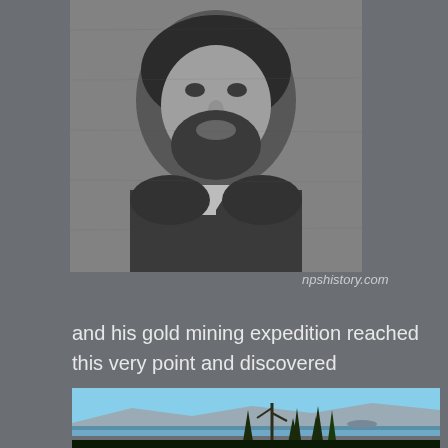[Figure (photo): Black and white historical portrait photograph of a bearded man in formal attire, likely from the late 19th century]
npshistory.com
and his gold mining expedition reached this very point and discovered
[Figure (photo): Color landscape photograph showing Crater Lake with blue sky, distant volcanic rim cliffs, and tall evergreen trees (pine/fir) in the foreground]